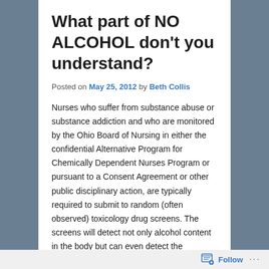What part of NO ALCOHOL don't you understand?
Posted on May 25, 2012 by Beth Collis
Nurses who suffer from substance abuse or substance addiction and who are monitored by the Ohio Board of Nursing in either the confidential Alternative Program for Chemically Dependent Nurses Program or pursuant to a Consent Agreement or other public disciplinary action, are typically required to submit to random (often observed) toxicology drug screens. The screens will detect not only alcohol content in the body but can even detect the metabolites of alcohol (evidence that the body is
Follow ...